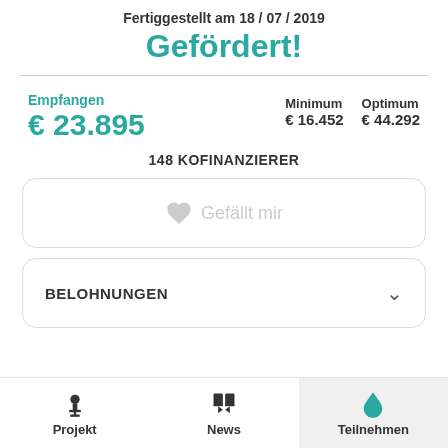Fertiggestellt am 18 / 07 / 2019
Gefördert!
Empfangen € 23.895
Minimum € 16.452
Optimum € 44.292
148 KOFINANZIERER
♥ Gefällt mir
BELOHNUNGEN
Projekt | News | Teilnehmen